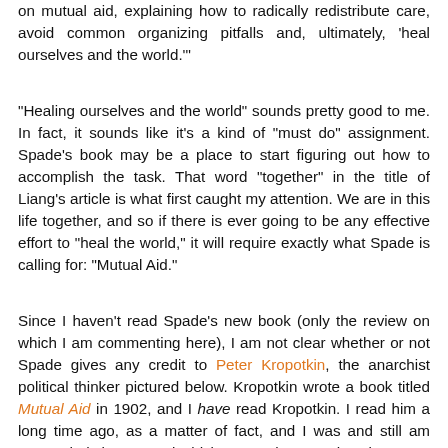on mutual aid, explaining how to radically redistribute care, avoid common organizing pitfalls and, ultimately, 'heal ourselves and the world.'
"Healing ourselves and the world" sounds pretty good to me. In fact, it sounds like it's a kind of "must do" assignment. Spade's book may be a place to start figuring out how to accomplish the task. That word "together" in the title of Liang's article is what first caught my attention. We are in this life together, and so if there is ever going to be any effective effort to "heal the world," it will require exactly what Spade is calling for: "Mutual Aid."
Since I haven't read Spade's new book (only the review on which I am commenting here), I am not clear whether or not Spade gives any credit to Peter Kropotkin, the anarchist political thinker pictured below. Kropotkin wrote a book titled Mutual Aid in 1902, and I have read Kropotkin. I read him a long time ago, as a matter of fact, and I was and still am persuaded that mutual aid between humans has been, as Kropotkin argues, one of the forces, within evolution, that has helped advance the human race.